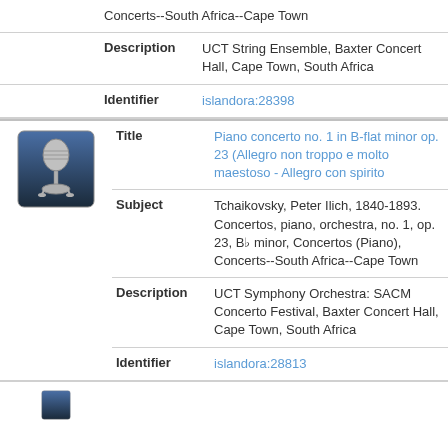Concerts--South Africa--Cape Town
Description: UCT String Ensemble, Baxter Concert Hall, Cape Town, South Africa
Identifier: islandora:28398
Piano concerto no. 1 in B-flat minor op. 23 (Allegro non troppo e molto maestoso - Allegro con spirito
Subject: Tchaikovsky, Peter Ilich, 1840-1893. Concertos, piano, orchestra, no. 1, op. 23, B♭ minor, Concertos (Piano), Concerts--South Africa--Cape Town
Description: UCT Symphony Orchestra: SACM Concerto Festival, Baxter Concert Hall, Cape Town, South Africa
Identifier: islandora:28813